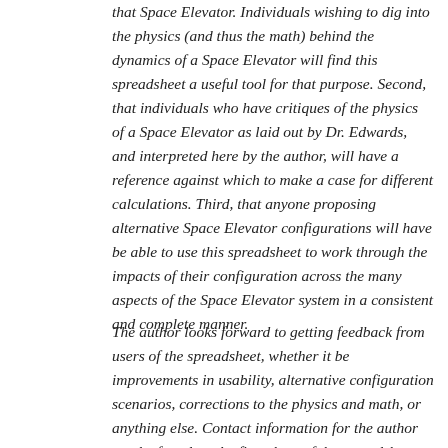that Space Elevator. Individuals wishing to dig into the physics (and thus the math) behind the dynamics of a Space Elevator will find this spreadsheet a useful tool for that purpose. Second, that individuals who have critiques of the physics of a Space Elevator as laid out by Dr. Edwards, and interpreted here by the author, will have a reference against which to make a case for different calculations. Third, that anyone proposing alternative Space Elevator configurations will have be able to use this spreadsheet to work through the impacts of their configuration across the many aspects of the Space Elevator system in a consistent and complete manner.
The author looks forward to getting feedback from users of the spreadsheet, whether it be improvements in usability, alternative configuration scenarios, corrections to the physics and math, or anything else. Contact information for the author can be found on the first sheet of the spreadsheet.